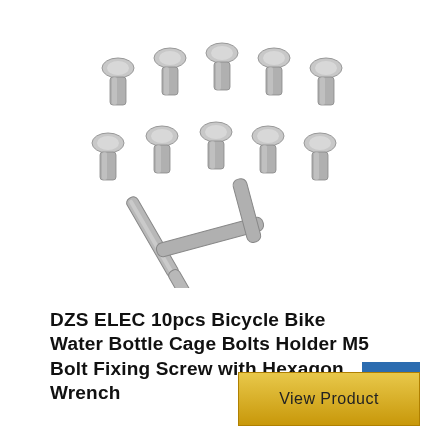[Figure (photo): Product photo of 10 stainless steel M5 bolts/screws and one L-shaped hexagon (Allen) wrench arranged on a white background]
DZS ELEC 10pcs Bicycle Bike Water Bottle Cage Bolts Holder M5 Bolt Fixing Screw with Hexagon Wrench